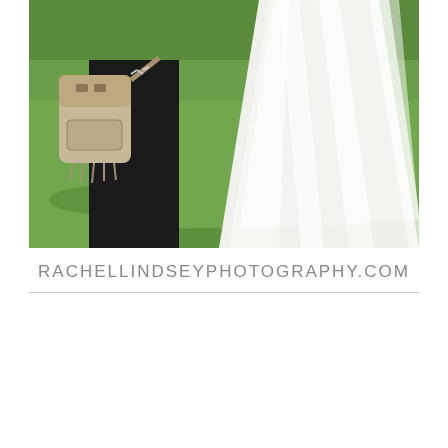[Figure (photo): Partial view of two people outdoors on grass — one person in dark clothing carrying a tan/beige leather bag, another person in a white flowing dress (wedding dress visible from waist down).]
RACHELLINDSEYPHOTOGRAPHY.COM